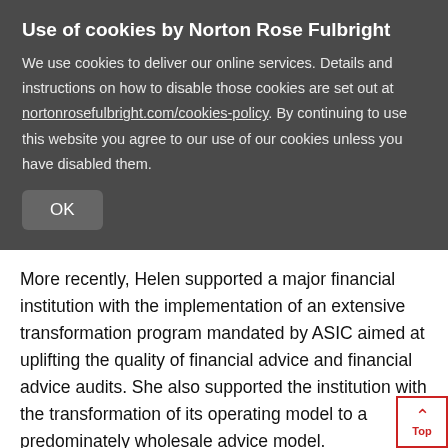Use of cookies by Norton Rose Fulbright
We use cookies to deliver our online services. Details and instructions on how to disable those cookies are set out at nortonrosefulbright.com/cookies-policy. By continuing to use this website you agree to our use of our cookies unless you have disabled them.
OK
More recently, Helen supported a major financial institution with the implementation of an extensive transformation program mandated by ASIC aimed at uplifting the quality of financial advice and financial advice audits. She also supported the institution with the transformation of its operating model to a predominately wholesale advice model.
Helen has acted for major Australian financial institutions and government bodies on a diverse